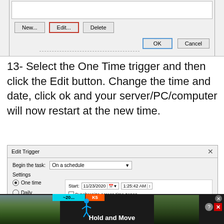[Figure (screenshot): Windows dialog box showing New, Edit (highlighted with red border), and Delete buttons, with OK and Cancel buttons]
13- Select the One Time trigger and then click the Edit button. Change the time and date, click ok and your server/PC/computer will now restart at the new time.
[Figure (screenshot): Edit Trigger dialog showing Begin the task: On a schedule, Settings with One time selected (radio button), Start: 11/23/2020 1:25:42 AM, Synchronize across time zones checkbox, Daily, Weekly, Monthly options]
[Figure (screenshot): Advertisement banner showing Hold and Move app with figure icon, nature scene background, close and help buttons]